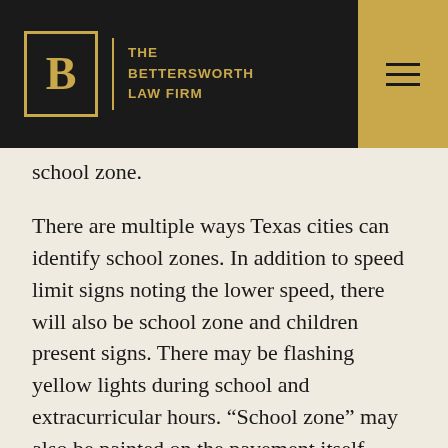The Bettersworth Law Firm
school zone.
There are multiple ways Texas cities can identify school zones. In addition to speed limit signs noting the lower speed, there will also be school zone and children present signs. There may be flashing yellow lights during school and extracurricular hours. “School zone” may also be painted on the pavement itself.
Additional school-related laws include